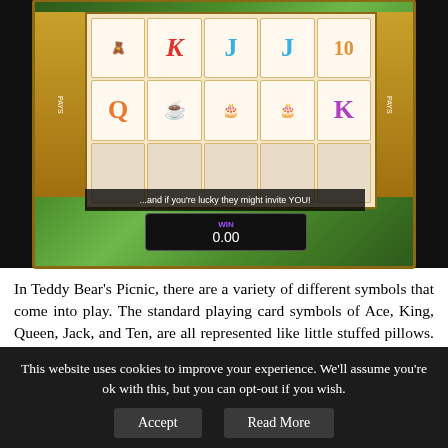[Figure (screenshot): Screenshot of Teddy Bear's Picnic slot game showing 5-reel slot machine with playing card symbols K, J, Q, 10 styled as stuffed pillows, tea cup, and candy cake symbols. WIN display shows 0.00 at bottom.]
In Teddy Bear's Picnic, there are a variety of different symbols that come into play. The standard playing card symbols of Ace, King, Queen, Jack, and Ten, are all represented like little stuffed pillows. Next up the pay scale is the little tea cup, the delicious candy cake, the gold
This website uses cookies to improve your experience. We'll assume you're ok with this, but you can opt-out if you wish. Accept Read More